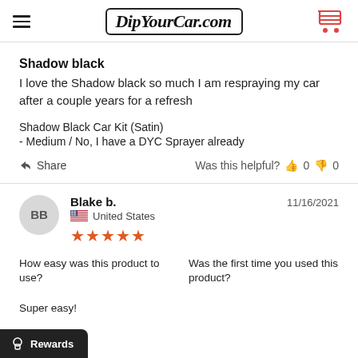DipYourCar.com
Shadow black
I love the Shadow black so much I am respraying my car after a couple years for a refresh
Shadow Black Car Kit (Satin)
- Medium / No, I have a DYC Sprayer already
Share   Was this helpful?  0  0
Blake b.   11/16/2021   United States   ★★★★★
How easy was this product to use?   Was this the first time you used this product?
Super easy!   product?